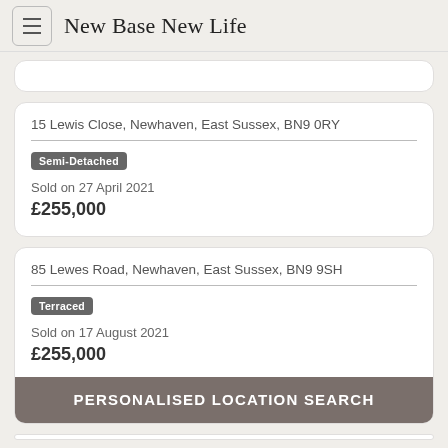New Base New Life
15 Lewis Close, Newhaven, East Sussex, BN9 0RY
Semi-Detached
Sold on 27 April 2021
£255,000
85 Lewes Road, Newhaven, East Sussex, BN9 9SH
Terraced
Sold on 17 August 2021
£255,000
PERSONALISED LOCATION SEARCH